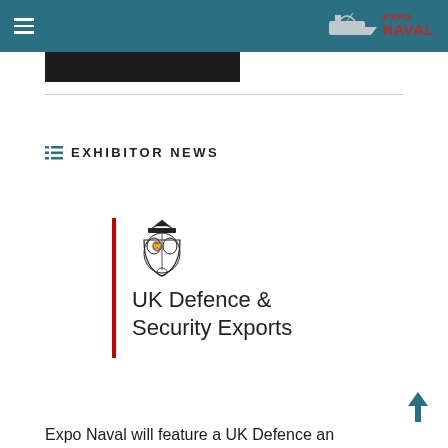[Figure (logo): Expo Naval logo in top right of teal navigation bar, with hamburger menu icon on the left]
EXHIBITOR NEWS
[Figure (logo): UK Defence & Security Exports logo: red vertical bar on left, Royal coat of arms crest above, text 'UK Defence & Security Exports' below]
Expo Naval will feature a UK Defence and